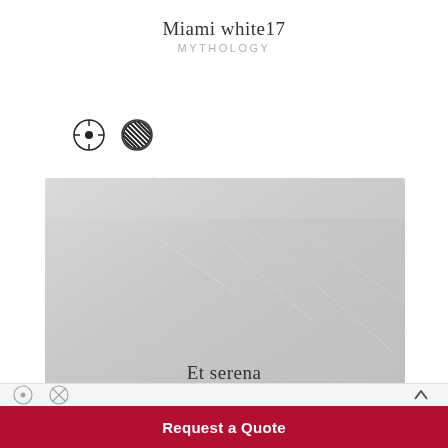Miami white17
MYTHOLOGY
[Figure (photo): Light gray marble/quartz slab sample named Miami white17 from the Mythology collection, showing subtle diagonal veining on a pale gray background, photographed at a slight angle with shadow beneath.]
Et serena
ETERNAL
Request a Quote